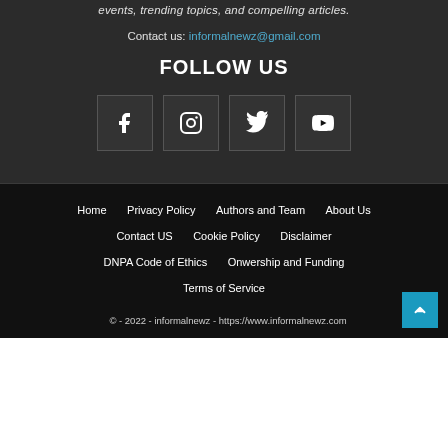events, trending topics, and compelling articles.
Contact us: informalnewz@gmail.com
FOLLOW US
[Figure (other): Four social media icon buttons in bordered boxes: Facebook, Instagram, Twitter, YouTube]
Home  Privacy Policy  Authors and Team  About Us  Contact US  Cookie Policy  Disclaimer  DNPA Code of Ethics  Onwership and Funding  Terms of Service
© - 2022 - informalnewz - https://www.informalnewz.com